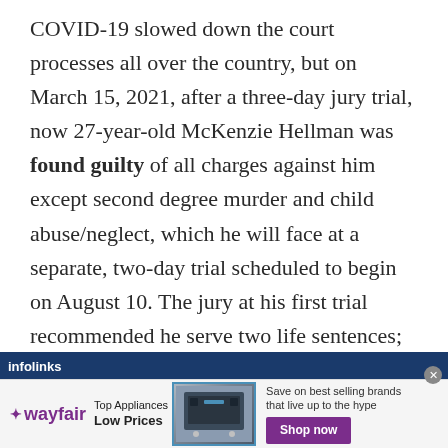COVID-19 slowed down the court processes all over the country, but on March 15, 2021, after a three-day jury trial, now 27-year-old McKenzie Hellman was found guilty of all charges against him except second degree murder and child abuse/neglect, which he will face at a separate, two-day trial scheduled to begin on August 10. The jury at his first trial recommended he serve two life sentences; his sentencing hearing on those charges is scheduled to take place on
[Figure (other): Wayfair advertisement banner showing top appliances at low prices with a stove/range image and Shop now button]